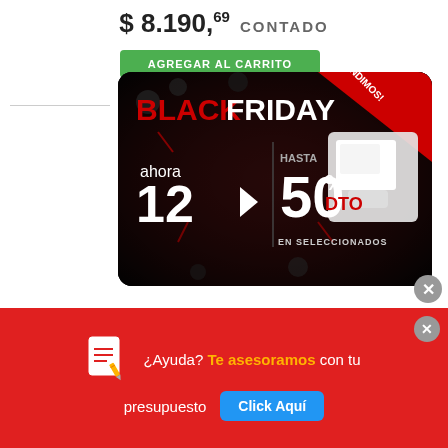$ 8.190,69  CONTADO
[Figure (screenshot): Black Friday promotional banner with dark background. Shows 'BLACK FRIDAY' logo in red and white, '¡EXTENDIMOS!' in red diagonal banner, 'ahora 12' with arrow pointing to 'HASTA 50% DTO EN SELECCIONADOS', and bathroom fixtures image on right.]
Chapa Canal Cincalum C25 1.086 X 3.50 M
[Figure (infographic): Bottom red help bar with document icon, text '¿Ayuda? Te asesoramos con tu presupuesto', and blue 'Click Aquí' button. Also has a close X button.]